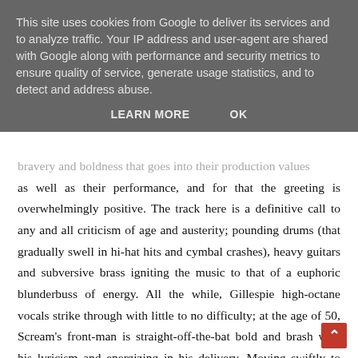This site uses cookies from Google to deliver its services and to analyze traffic. Your IP address and user-agent are shared with Google along with performance and security metrics to ensure quality of service, generate usage statistics, and to detect and address abuse.
LEARN MORE   OK
bravery and boldness that goes into their production values as well as their performance, and for that the greeting is overwhelmingly positive. The track here is a definitive call to any and all criticism of age and austerity; pounding drums (that gradually swell in hi-hat hits and cymbal crashes), heavy guitars and subversive brass igniting the music to that of a euphoric blunderbuss of energy. All the while, Gillespie high-octane vocals strike through with little to no difficulty; at the age of 50, Scream's front-man is straight-off-the-bat bold and brash with his lyricism and energizing in his delivery. Moving swiftly to follower River Of Pain, and the transition from concert hall-beating